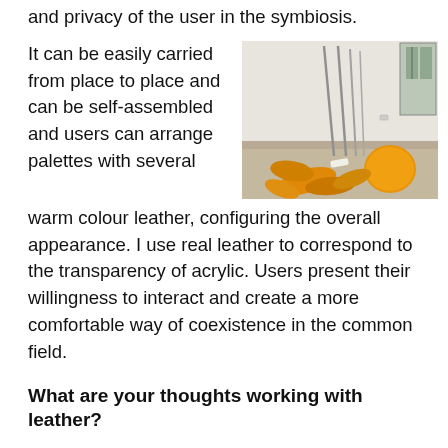and privacy of the user in the symbiosis.
It can be easily carried from place to place and can be self-assembled and users can arrange palettes with several warm colour leather, configuring the overall appearance. I use real leather to correspond to the transparency of acrylic. Users present their willingness to interact and create a more comfortable way of coexistence in the common field.
[Figure (photo): Installation photo showing orange/yellow leather pieces on a floor with metal rods leaning against a white wall in a gallery space.]
What are your thoughts working with leather?
The main reason why I chose leather as main material is the sense of ownership and belonging offered to users. Leather is an unique material that creates more emotional connection with users and users always tend